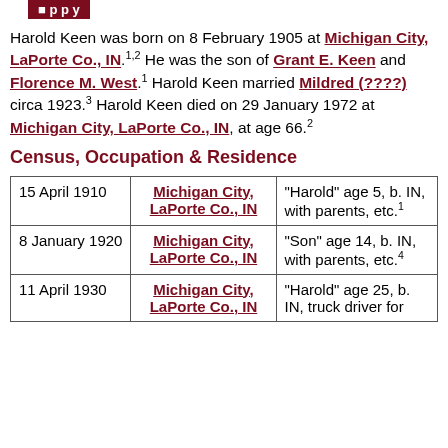[navigation bar]
Harold Keen was born on 8 February 1905 at Michigan City, LaPorte Co., IN.1,2 He was the son of Grant E. Keen and Florence M. West.1 Harold Keen married Mildred (????) circa 1923.3 Harold Keen died on 29 January 1972 at Michigan City, LaPorte Co., IN, at age 66.2
Census, Occupation & Residence
| Date | Location | Details |
| --- | --- | --- |
| 15 April 1910 | Michigan City, LaPortte Co., IN | "Harold" age 5, b. IN, with parents, etc.1 |
| 8 January 1920 | Michigan City, LaPorte Co., IN | "Son" age 14, b. IN, with parents, etc.4 |
| 11 April 1930 | Michigan City, LaPorte Co., IN | "Harold" age 25, b. IN, truck driver for |